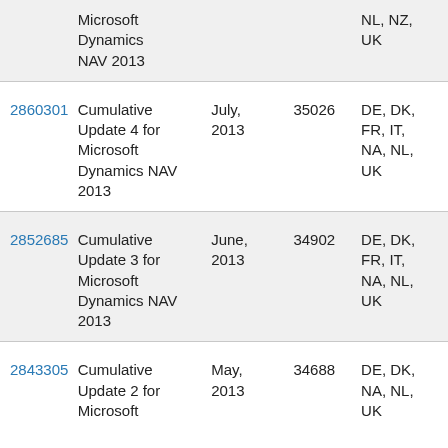| KB | Description | Release Date | Build Number | Locale |
| --- | --- | --- | --- | --- |
|  | Microsoft Dynamics NAV 2013 |  |  | NL, NZ, UK |
| 2860301 | Cumulative Update 4 for Microsoft Dynamics NAV 2013 | July, 2013 | 35026 | DE, DK, FR, IT, NA, NL, UK |
| 2852685 | Cumulative Update 3 for Microsoft Dynamics NAV 2013 | June, 2013 | 34902 | DE, DK, FR, IT, NA, NL, UK |
| 2843305 | Cumulative Update 2 for Microsoft... | May, 2013 | 34688 | DE, DK, NA, NL, UK |